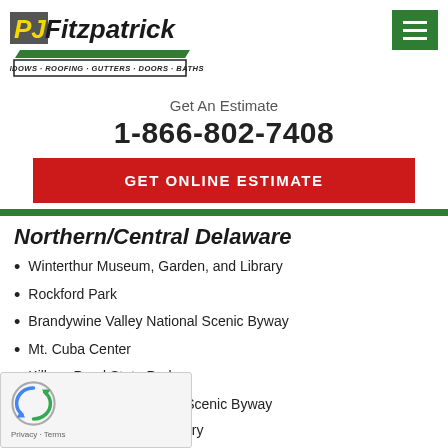[Figure (logo): PJ Fitzpatrick logo with tagline: WINDOWS · ROOFING · GUTTERS · DOORS · BATHS]
Get An Estimate
1-866-802-7408
GET ONLINE ESTIMATE
Northern/Central Delaware
Winterthur Museum, Garden, and Library
Rockford Park
Brandywine Valley National Scenic Byway
Mt. Cuba Center
Killens Pond State Park
DE 9 Coastal Heritage Scenic Byway
Hagley Museum and Library